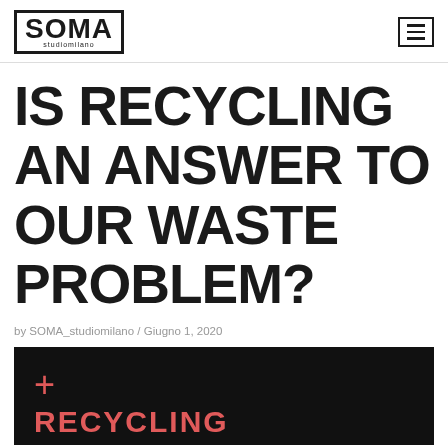SOMA studiomilano
IS RECYCLING AN ANSWER TO OUR WASTE PROBLEM?
by SOMA_studiomilano / Giugno 1, 2020
[Figure (photo): Dark/black background image with a pink/red plus sign and the beginning of the word RECYCLING in pink/red text]